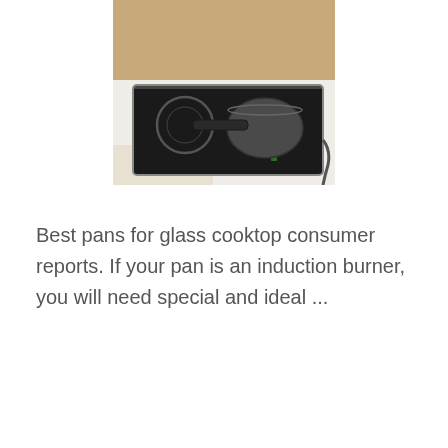[Figure (photo): A black induction cooktop with two burners sitting on a white kitchen counter. A dark-handled frying pan rests on the right burner. A wooden cabinet with a round silver knob is visible below.]
Best pans for glass cooktop consumer reports. If your pan is an induction burner, you will need special and ideal ...